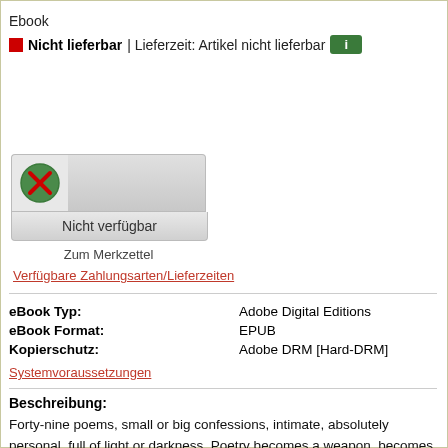Ebook
Nicht lieferbar| Lieferzeit: Artikel nicht lieferbar  i
[Figure (other): Unavailable/disabled button with red X icon and grey bar]
Nicht verfügbar
Zum Merkzettel
Verfügbare Zahlungsarten/Lieferzeiten
| eBook Typ: | Adobe Digital Editions |
| eBook Format: | EPUB |
| Kopierschutz: | Adobe DRM [Hard-DRM] |
Systemvoraussetzungen
Beschreibung:
Forty-nine poems, small or big confessions, intimate, absolutely personal, full of light or darkness. Poetry becomes a weapon, becomes a step in finding that his voice is the deepest, most hidden thing. Travelling through Christos's Daskalakis deliberate paths of solitude you discover